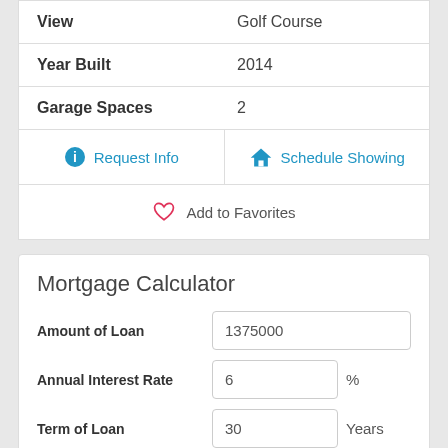| Property Feature | Value |
| --- | --- |
| View | Golf Course |
| Year Built | 2014 |
| Garage Spaces | 2 |
Request Info
Schedule Showing
Add to Favorites
Mortgage Calculator
Amount of Loan: 1375000
Annual Interest Rate: 6 %
Term of Loan: 30 Years